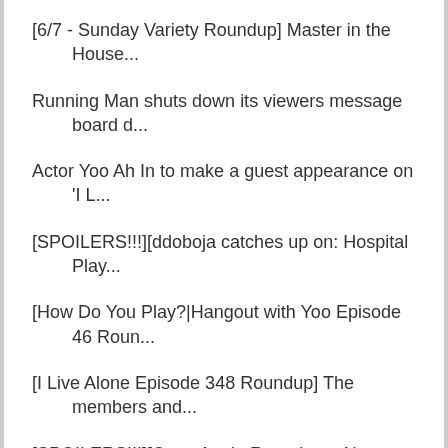[6/7 - Sunday Variety Roundup] Master in the House...
Running Man shuts down its viewers message board d...
Actor Yoo Ah In to make a guest appearance on 'I L...
[SPOILERS!!!][ddoboja catches up on: Hospital Play...
[How Do You Play?|Hangout with Yoo Episode 46 Roun...
[I Live Alone Episode 348 Roundup] The members and...
[SPOILERS!!!][Once Again Roundup + Naver TV Commen...